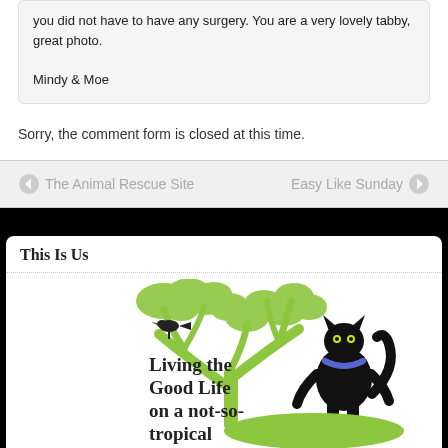you did not have to have any surgery. You are a very lovely tabby, great photo.

Mindy & Moe
Sorry, the comment form is closed at this time.
◄ The Animal Rescue Site
Easy Like Sunday ►
This Is Us
[Figure (logo): Logo illustration of a black cat standing upright next to a green tree with a black bird perched on a branch. Text reads: Living the Good Life on a not-so-tropical Island]